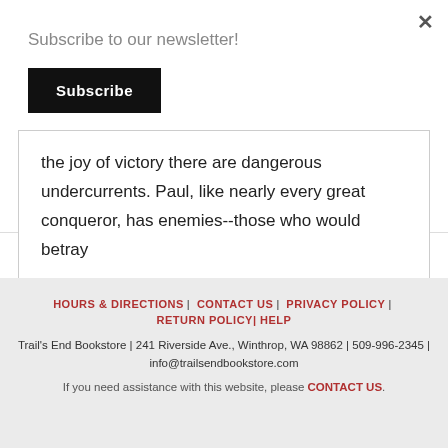Subscribe to our newsletter!
Subscribe
the joy of victory there are dangerous undercurrents. Paul, like nearly every great conqueror, has enemies--those who would betray
HOURS & DIRECTIONS | CONTACT US | PRIVACY POLICY | RETURN POLICY | HELP
Trail's End Bookstore | 241 Riverside Ave., Winthrop, WA 98862 | 509-996-2345 | info@trailsendbookstore.com
If you need assistance with this website, please CONTACT US.